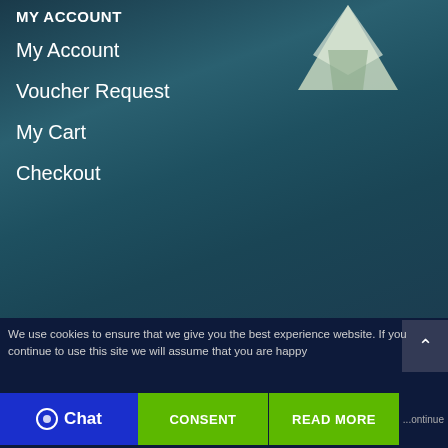[Figure (photo): Background photo of dark teal ocean water with a white iceberg visible in the upper right corner]
MY ACCOUNT
My Account
Voucher Request
My Cart
Checkout
We use cookies to ensure that we give you the best experience website. If you continue to use this site we will assume that you are happy
Chat
CONSENT
READ MORE